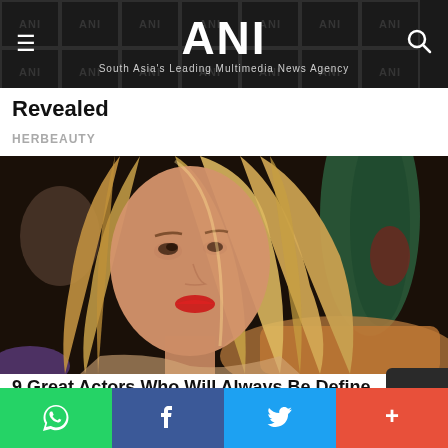ANI — South Asia's Leading Multimedia News Agency
Revealed
HERBEAUTY
[Figure (photo): A woman with long blonde hair and red lipstick, appearing to be a scene from the TV show Friends, looking upward with a thoughtful expression. Background shows a cafe setting.]
9 Great Actors Who Will Always Be Define…
[Figure (other): Scroll-to-top button with upward chevron arrow]
Social share bar with WhatsApp, Facebook, Twitter, and More buttons